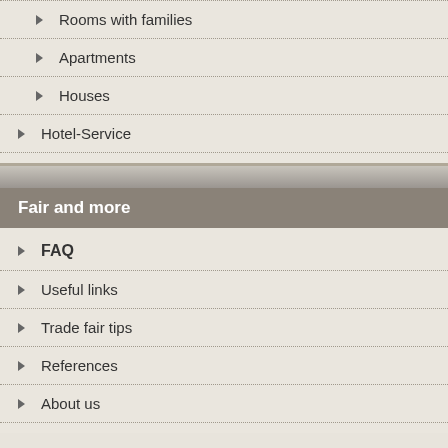Rooms with families
Apartments
Houses
Hotel-Service
Fair and more
FAQ
Useful links
Trade fair tips
References
About us